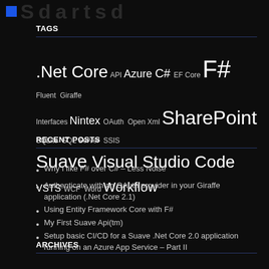[Figure (logo): Blog logo with blue square and large dark text letters]
TAGS
.Net Core API Azure C# EF Core F# Fluent Giraffe Interfaces Nintex OAuth Open Xml SharePoint SQLite SQL Server SSIS Suave Visual Studio Code VSTS WCF Word Workflow
RECENT POSTS
Why I like F# over C# – Less Noise
Authenticate with an OAuth provider in your Giraffe application (.Net Core 2.1)
Using Entity Framework Core with F#
My First Suave Api(tm)
Setup basic CI/CD for a Suave .Net Core 2.0 application running on an Azure App Service – Part II
ARCHIVES